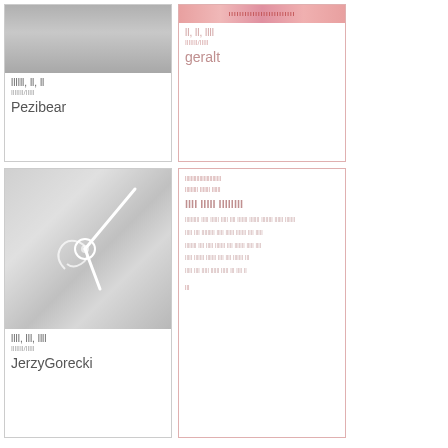[Figure (photo): Gray image thumbnail, top left card]
llllll, ll, ll
Pezibear
[Figure (photo): Pink/red decorative banner image, top right card]
ll, ll, llll
geralt
[Figure (photo): Photo of clock hands on gray background, bottom left card]
Lots of text lines forming a paragraph block, bottom right card
llll, lll, llll
JerzyGorecki